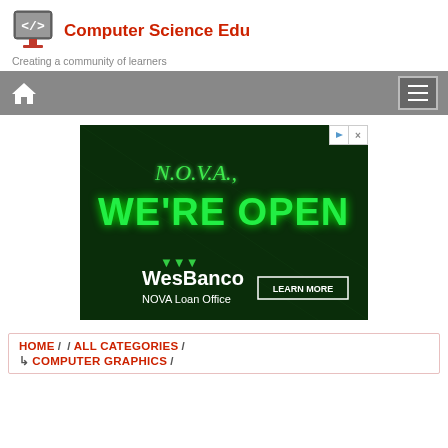Computer Science Edu — Creating a community of learners
[Figure (logo): Computer Science Edu logo: code icon on monitor screen with red base]
Computer Science Edu
Creating a community of learners
[Figure (screenshot): Navigation bar with home icon on left and hamburger menu button on right, gray background]
[Figure (photo): WesBanco advertisement: dark green neon-lit background with 'NOVA, WE'RE OPEN' in neon green letters, WesBanco logo and 'NOVA Loan Office' text, 'LEARN MORE' button]
HOME /  /  ALL CATEGORIES /
COMPUTER GRAPHICS /